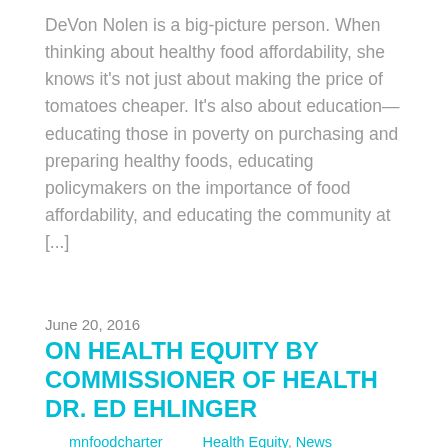DeVon Nolen is a big-picture person. When thinking about healthy food affordability, she knows it's not just about making the price of tomatoes cheaper. It's also about education—educating those in poverty on purchasing and preparing healthy foods, educating policymakers on the importance of food affordability, and educating the community at [...]
June 20, 2016
ON HEALTH EQUITY BY COMMISSIONER OF HEALTH DR. ED EHLINGER
mnfoodcharter     Health Equity, News
When it comes to good health in our state, not everyone has a level playing field. This has dire consequences for disadvantaged Minnesotans, but there's a growing awareness that health disparities